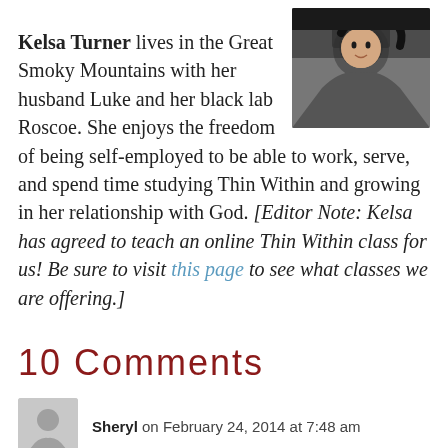Kelsa Turner lives in the Great Smoky Mountains with her husband Luke and her black lab Roscoe. She enjoys the freedom of being self-employed to be able to work, serve, and spend time studying Thin Within and growing in her relationship with God. [Editor Note: Kelsa has agreed to teach an online Thin Within class for us! Be sure to visit this page to see what classes we are offering.]
[Figure (photo): Headshot photo of Kelsa Turner, a young woman with dark hair, smiling]
10 Comments
[Figure (illustration): Generic user avatar silhouette placeholder for commenter Sheryl]
Sheryl on February 24, 2014 at 7:48 am